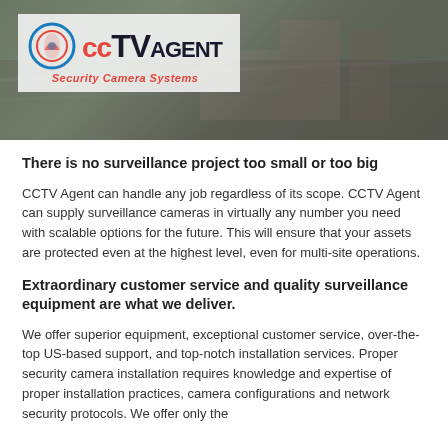[Figure (logo): CCTV Agent logo with Security Camera Systems tagline over aerial construction site background photo]
There is no surveillance project too small or too big
CCTV Agent can handle any job regardless of its scope. CCTV Agent can supply surveillance cameras in virtually any number you need with scalable options for the future. This will ensure that your assets are protected even at the highest level, even for multi-site operations.
Extraordinary customer service and quality surveillance equipment are what we deliver.
We offer superior equipment, exceptional customer service, over-the-top US-based support, and top-notch installation services. Proper security camera installation requires knowledge and expertise of proper installation practices, camera configurations and network security protocols. We offer only the